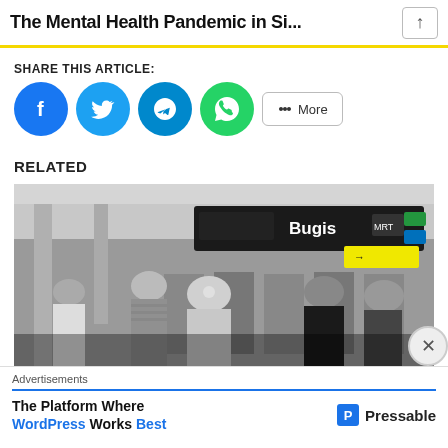The Mental Health Pandemic in Si...
SHARE THIS ARTICLE:
[Figure (infographic): Social share buttons: Facebook (blue circle), Twitter (light blue circle), Telegram (teal circle), WhatsApp (green circle), and a More button]
RELATED
[Figure (photo): Black and white photo of people at Bugis MRT station in Singapore, crowded platform with signage visible]
Advertisements
The Platform Where WordPress Works Best  Pressable